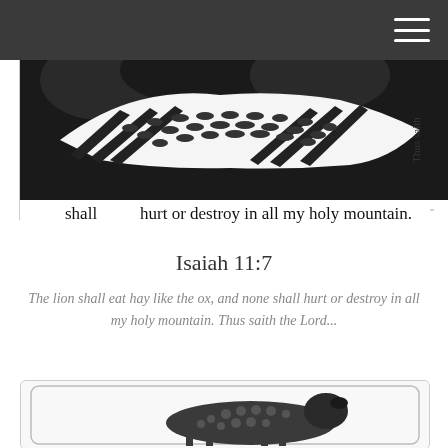[Figure (illustration): Black and white woodcut/linocut illustration showing wheat sheaves and foliage with text overlaid 'shall hurt or destroy in all my holy mountain.' and 'Thus saith' visible at edges]
Isaiah 11:7
The lion shall eat hay like the ox, and none shall hurt or destroy in all my holy mountain.  Thus saith the Lord...
[Figure (illustration): Black and white illustration of a sheep or lamb lying down, with rounded rectangle border frame]